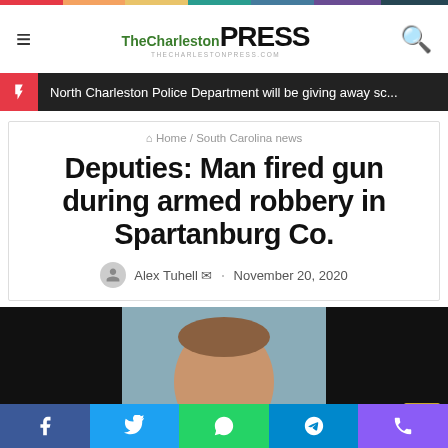TheCharleston PRESS
North Charleston Police Department will be giving away sc...
Home / South Carolina news
Deputies: Man fired gun during armed robbery in Spartanburg Co.
Alex Tuhell · November 20, 2020
[Figure (photo): Mugshot photo of a man, centered, with black borders on left and right sides]
Social sharing bar: Facebook, Twitter, WhatsApp, Telegram, Phone